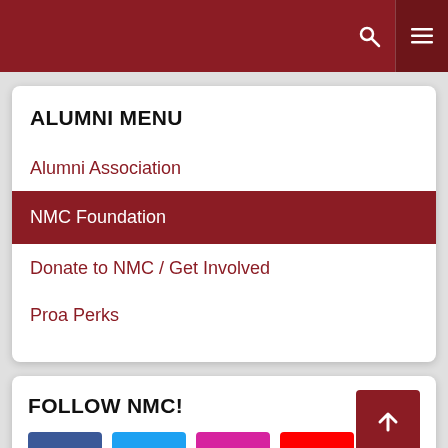NMC Alumni - header navigation bar
ALUMNI MENU
Alumni Association
NMC Foundation
Donate to NMC / Get Involved
Proa Perks
FOLLOW NMC!
[Figure (infographic): Social media icon buttons: Facebook (blue), Twitter (light blue), Instagram (pink/magenta), YouTube (red)]